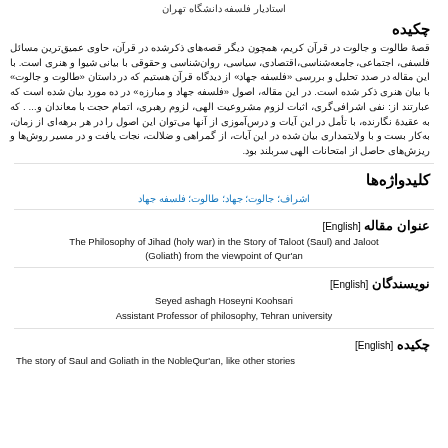استادیار فلسفه دانشگاه تهران
چکیده
قصهٔ طالوت و جالوت در قرآن کریم، همچون دیگر قصه‌های ذکرشده در قرآن، حاوی عمیق‌ترین مسائل فلسفی، اجتماعی، جامعه‌شناسی، اقتصادی، سیاسی، روان‌شناسی و حقوقی با بیانی شیوا و هنری است. با این مقاله در صدد تحلیل و بررسی «فلسفه جهاد» از دیدگاه قرآن هستیم که در داستان «طالوت و جالوت» با بیان هنری ذکر شده است. در این مقاله، اصول «فلسفه جهاد و مبارزه» در ده مورد بیان شده است که عبارتند از: نفی اشرافی‌گری، اثبات لزوم مشروعیت الهی، لزوم رهبری، اتمام حجت با معاندان و... . که به عقیدهٔ نگارنده، با تأمل در این آیات و درس‌آموزی از آنها می‌توان این اصول را در هر برهه‌ای از زمان، به‌کار بست و با ولایتمداری بیان شده در این آیات، از گمراهی و ضلالت، نجات یافت و در مسیر روش‌ها و ریزش‌های حاصل از امتحانات الهی سربلند بود.
کلیدواژه‌ها
اشراف؛ جالوت؛ جهاد؛ طالوت؛ فلسفه جهاد
عنوان مقاله [English]
The Philosophy of Jihad (holy war) in the Story of Taloot (Saul) and Jaloot (Goliath) from the viewpoint of Qur'an
نویسندگان [English]
Seyed ashagh Hoseyni Koohsari
Assistant Professor of philosophy, Tehran university
چکیده [English]
The story of Saul and Goliath in the NobleQur'an, like other stories